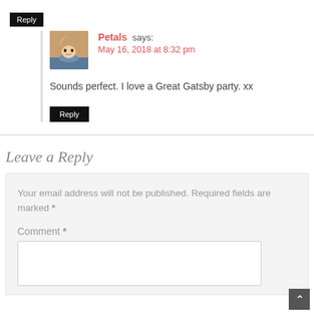Reply
Petals says: May 16, 2018 at 8:32 pm
Sounds perfect. I love a Great Gatsby party. xx
Reply
Leave a Reply
Your email address will not be published. Required fields are marked *
Comment *